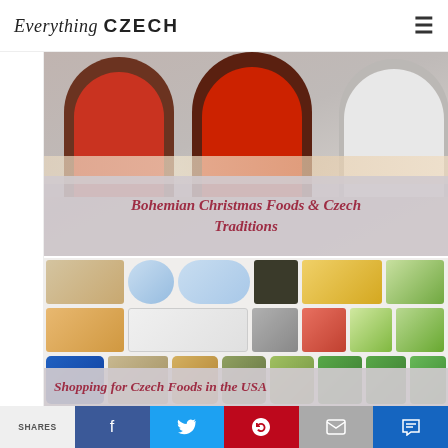Everything CZECH
[Figure (photo): Three women posed together, one wearing red top, one in white top, with Christmas food display in foreground. Overlay text: Bohemian Christmas Foods & Czech Traditions]
Bohemian Christmas Foods & Czech Traditions
[Figure (photo): Collage of various Czech and Eastern European food products including sausages, cheese, Wondra flour, Friendship farmer cheese, President brie, bread products, almond paste, poppy seed, and other grocery items available in the USA]
Shopping for Czech Foods in the USA